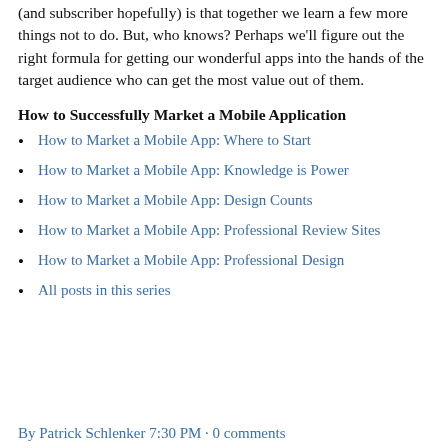(and subscriber hopefully) is that together we learn a few more things not to do. But, who knows? Perhaps we'll figure out the right formula for getting our wonderful apps into the hands of the target audience who can get the most value out of them.
How to Successfully Market a Mobile Application
How to Market a Mobile App: Where to Start
How to Market a Mobile App: Knowledge is Power
How to Market a Mobile App: Design Counts
How to Market a Mobile App: Professional Review Sites
How to Market a Mobile App: Professional Design
All posts in this series
By Patrick Schlenker 7:30 PM · 0 comments